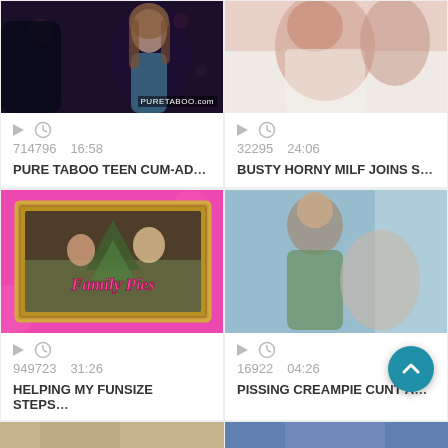[Figure (photo): Dark moody photo of woman in teal dress with watermark PURETABOO.com]
714796   16:58
PURE TABOO TEEN CUM-AD...
[Figure (photo): Intimate photo with white bedding]
32295   24:06
BUSTY HORNY MILF JOINS S...
[Figure (photo): Pink background with gold frame, christmas theme, Family Pies logo]
949723   31:26
HELPING MY FUNSIZE STEPS...
[Figure (photo): Outdoor intimate photo]
16922   04:26
PISSING CREAMPIE CUNT A...